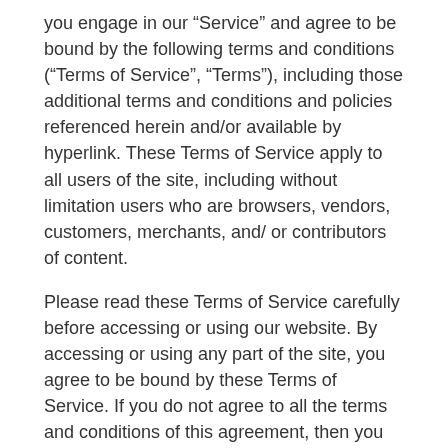you engage in our “Service” and agree to be bound by the following terms and conditions (“Terms of Service”, “Terms”), including those additional terms and conditions and policies referenced herein and/or available by hyperlink. These Terms of Service apply to all users of the site, including without limitation users who are browsers, vendors, customers, merchants, and/ or contributors of content.
Please read these Terms of Service carefully before accessing or using our website. By accessing or using any part of the site, you agree to be bound by these Terms of Service. If you do not agree to all the terms and conditions of this agreement, then you may not access the website or use any services. If these Terms of Service are considered an offer, acceptance is expressly limited to these Terms of Service.
Any new features or tools which are added to the current store shall also be subject to the Terms of Service. You can review the most current version of the Terms of Service at any time on this page. We reserve the right to update, change or replace any part of these Terms of Service by